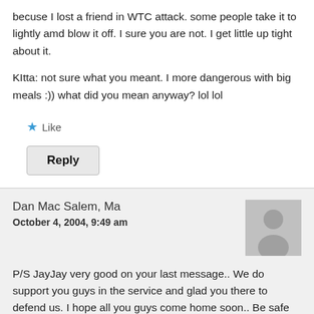becuse I lost a friend in WTC attack. some people take it to lightly amd blow it off. I sure you are not. I get little up tight about it.
KItta: not sure what you meant. I more dangerous with big meals :)) what did you mean anyway? lol lol
★ Like
Reply
Dan Mac Salem, Ma
October 4, 2004, 9:49 am
[Figure (illustration): Generic user avatar placeholder icon showing a silhouette of a person on a gray background]
P/S JayJay very good on your last message.. We do support you guys in the service and glad you there to defend us. I hope all you guys come home soon.. Be safe the rest...